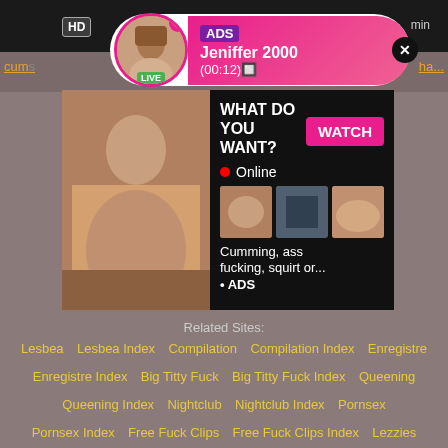[Figure (screenshot): Ad popup notification with avatar labeled LIVE, ADS badge, name Jeniffer 2000, time (00:12), close button, HD label, min label]
[Figure (advertisement): Adult ad banner with photo on left, WHAT DO YOU WANT? WATCH button, Online indicator, three thumbnails, text Cumming, ass fucking, squirt or... ADS]
Related Sites:
Lesbea  Lesbea Index  Compilation  Compilation Index  Enregistre
Enregistre Index  Big Titty Fuck  Big Titty Fuck Index  Queening
Queening Index  Nightclub  Nightclub Index  Pornsex
Pornsex Index  Free Fuck Clips  Free Fuck Clips Index  Lezzies
Lezzies Index  Tittyfucking  Tittyfucking Index